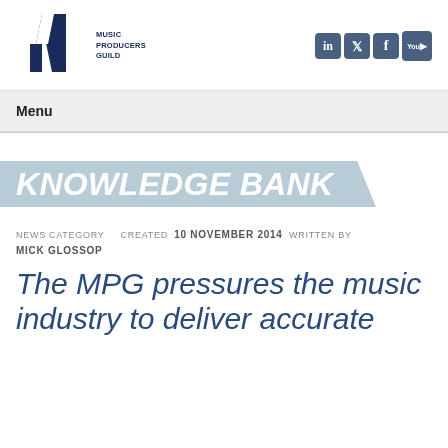[Figure (logo): MPG Music Producers Guild logo with dark blue angular M shape and text]
[Figure (infographic): Social media icons: LinkedIn, Twitter, Facebook, YouTube in dark blue rounded squares]
Menu
KNOWLEDGE BANK
NEWS CATEGORY   CREATED  10 NOVEMBER 2014  WRITTEN BY
MICK GLOSSOP
The MPG pressures the music industry to deliver accurate